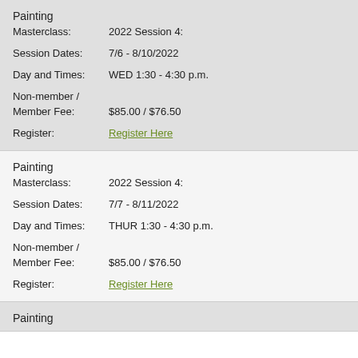Painting
Masterclass: 2022 Session 4:
Session Dates: 7/6 - 8/10/2022
Day and Times: WED 1:30 - 4:30 p.m.
Non-member /
Member Fee: $85.00 / $76.50
Register: Register Here
Painting
Masterclass: 2022 Session 4:
Session Dates: 7/7 - 8/11/2022
Day and Times: THUR 1:30 - 4:30 p.m.
Non-member /
Member Fee: $85.00 / $76.50
Register: Register Here
Painting